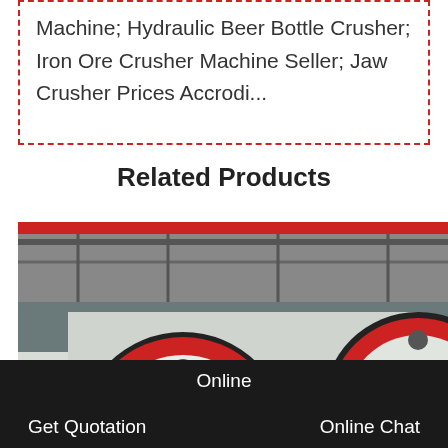Machine; Hydraulic Beer Bottle Crusher; Iron Ore Crusher Machine Seller; Jaw Crusher Prices Accrodi...
Related Products
[Figure (photo): Industrial jaw crusher machine with large red and black flywheels in a factory setting. The machine is white/light grey with multiple bolts visible, and large circular wheels with red rims.]
Get Quotation   Online   Online Chat